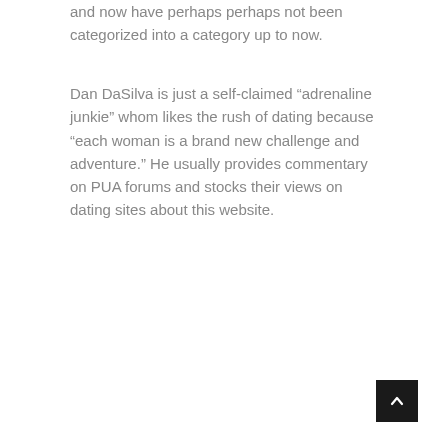and now have perhaps perhaps not been categorized into a category up to now.
Dan DaSilva is just a self-claimed “adrenaline junkie” whom likes the rush of dating because “each woman is a brand new challenge and adventure.” He usually provides commentary on PUA forums and stocks their views on dating sites about this website.